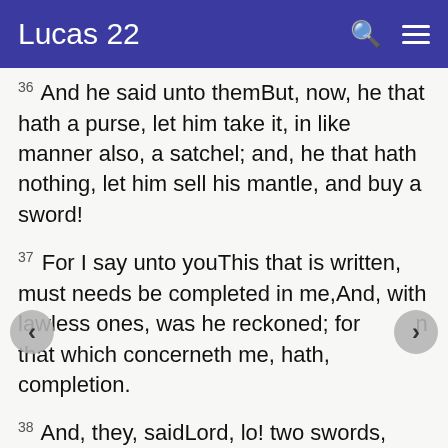Lucas 22
36 And he said unto themBut, now, he that hath a purse, let him take it, in like manner also, a satchel; and, he that hath nothing, let him sell his mantle, and buy a sword!
37 For I say unto youThis that is written, must needs be completed in me,And, with lawless ones, was he reckoned; for in that which concerneth me, hath, completion.
38 And, they, saidLord, lo! two swords, here! And, he, said unto themTis,